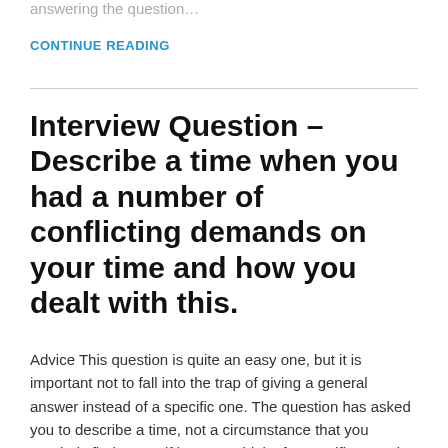answering the question…
CONTINUE READING
Interview Question – Describe a time when you had a number of conflicting demands on your time and how you dealt with this.
Advice This question is quite an easy one, but it is important not to fall into the trap of giving a general answer instead of a specific one. The question has asked you to describe a time, not a circumstance that you regularly find yourself in. Try to think of a specific occasion when you